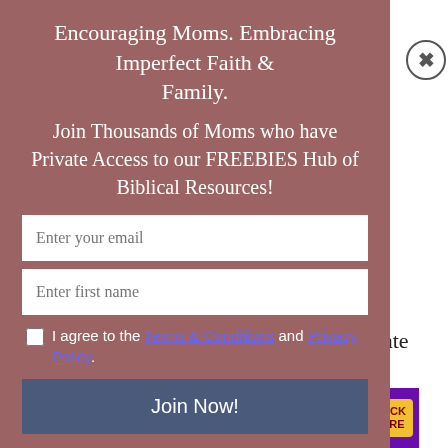Encouraging Moms. Embracing Imperfect Faith & Family.
Join Thousands of Moms who have Private Access to our FREEBIES Hub of Biblical Resources!
Enter your email
Enter first name
I agree to the Terms & Conditions and Privacy Policy.
Join Now!
thought they wanted. That is why I advocate mentoring.
[Figure (infographic): Purple advertisement banner: 7 Weeks to Christian Weight Loss, with CLICK HERE button and food imagery on left side.]